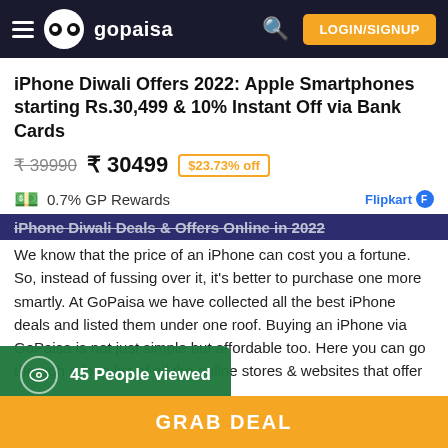gopaisa — LOGIN/SIGNUP
iPhone Diwali Offers 2022: Apple Smartphones starting Rs.30,499 & 10% Instant Off via Bank Cards
₹ 39990  ₹ 30499  $23.73% off
0.7% GP Rewards   Flipkart
iPhone Diwali Deals & Offers Online in 2022
We know that the price of an iPhone can cost you a fortune. So, instead of fussing over it, it's better to purchase one more smartly. At GoPaisa we have collected all the best iPhone deals and listed them under one roof. Buying an iPhone via GoPaisa is not just simple but affordable too. Here you can go through a long list of all the online stores & websites that offer you iPhones at the best prices. In the list, you will come across reputed websites like Amazon, Flipkart, Reliance Digital, Croma, Vijay Sales, etc. All the iPhone deals available in online stores are listed at GoPaisa. These
45 People viewed
GRAB DEAL